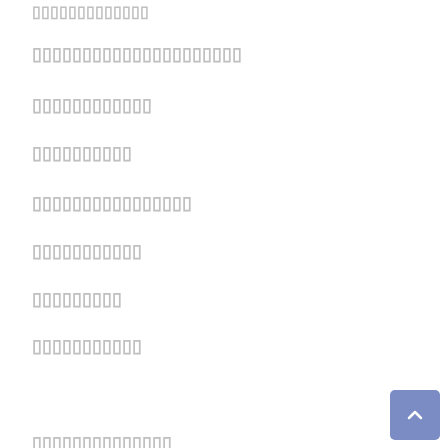▯▯▯▯▯▯▯▯▯▯▯▯▯
▯▯▯▯▯▯▯▯▯▯▯▯▯▯▯▯▯▯▯▯▯▯
▯▯▯▯▯▯▯▯▯▯▯▯
▯▯▯▯▯▯▯▯▯▯
▯▯▯▯▯▯▯▯▯▯▯▯▯▯▯▯
▯▯▯▯▯▯▯▯▯▯▯
▯▯▯▯▯▯▯▯▯
▯▯▯▯▯▯▯▯▯▯▯
▯▯▯▯▯▯▯▯▯▯▯▯
▯▯▯▯▯▯▯▯▯▯▯
▯▯▯▯▯▯▯▯▯
▯▯▯▯▯▯▯
▯▯▯▯▯▯▯▯▯
▯▯▯▯▯▯▯▯▯▯▯▯▯▯▯▯